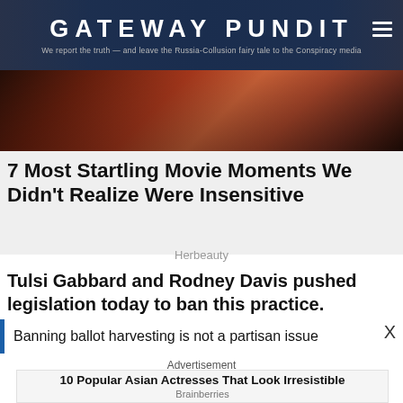GATEWAY PUNDIT — We report the truth — and leave the Russia-Collusion fairy tale to the Conspiracy media
[Figure (photo): Hero banner image with warm reddish-orange lighting, possibly a fireplace or forge scene]
7 Most Startling Movie Moments We Didn't Realize Were Insensitive
Herbeauty
Tulsi Gabbard and Rodney Davis pushed legislation today to ban this practice.
Banning ballot harvesting is not a partisan issue
Advertisement
10 Popular Asian Actresses That Look Irresistible
Brainberries